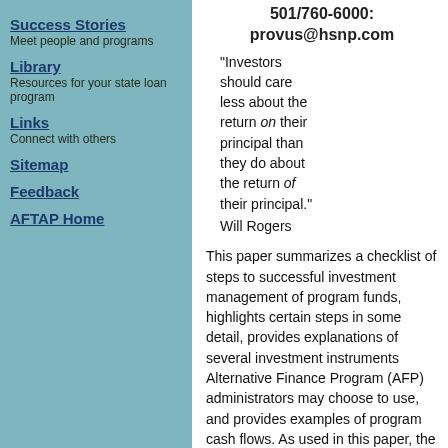Success Stories
Meet people and programs
Library
Resources for your state loan program
Links
Connect with others
Sitemap
Feedback
AFTAP Home
501/760-6000:
provus@hsnp.com
"Investors should care less about the return on their principal than they do about the return of their principal."
Will Rogers
This paper summarizes a checklist of steps to successful investment management of program funds, highlights certain steps in some detail, provides explanations of several investment instruments Alternative Finance Program (AFP) administrators may choose to use, and provides examples of program cash flows. As used in this paper, the term "program funds" means NIDRR grant and matching funds.